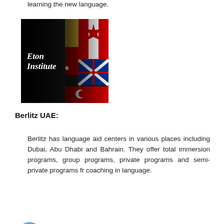learning the new language.
[Figure (photo): Eton Institute logo/banner image showing multiple international flags on a dark background with white text reading 'Eton Institute']
3. Berlitz UAE:
Berlitz has language aid centers in various places including Dubai, Abu Dhabi and Bahrain. They offer total immersion programs, group programs, private programs and semi-private programs fr coaching in language.